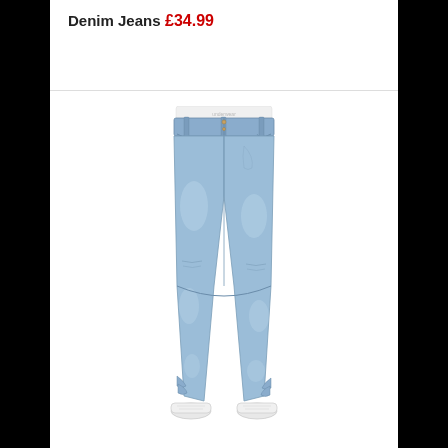Denim Jeans
£34.99
[Figure (photo): Light blue washed denim jeans displayed on a male model's lower body, worn with white sneakers. The jeans are straight/relaxed fit with visible button fly, five pockets, and natural wear/fading. White underwear waistband visible at top.]